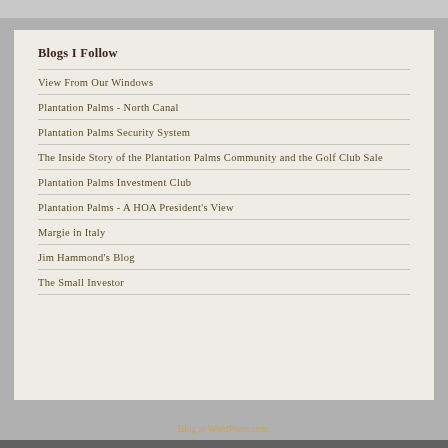Blogs I Follow
View From Our Windows
Plantation Palms - North Canal
Plantation Palms Security System
The Inside Story of the Plantation Palms Community and the Golf Club Sale
Plantation Palms Investment Club
Plantation Palms - A HOA President's View
Margie in Italy
Jim Hammond's Blog
The Small Investor
Blog at WordPress.com.